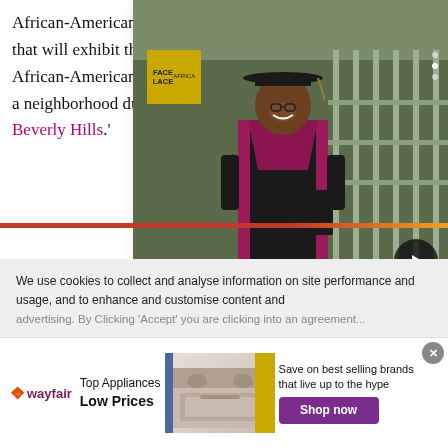African-American man; and Sweet Life that will exhibit the high-class lifestyle of African-American teens in Windsor Hills – a neighborhood dubbed as the 'Black Beverly Hills.'
Issa Rae first made... Girl, a web series... views and ove...
[Figure (photo): Photo of a woman in academic graduation gown (black with pink/maroon trim) smiling, holding a folder, outdoors. A Face Lace Africa badge is visible in upper left. Navigation arrow button on the right.]
'I'm the first, and I won'tbe thelast', says womanwho has
We use cookies to collect and analyse information on site performance and usage, and to enhance and customise content and advertising. By Clicking 'Accept' you are clicking into an agreement...
[Figure (advertisement): Wayfair advertisement: Top Appliances Low Prices. Image of a stove/range. Save on best selling brands that live up to the hype. Shop now button in purple.]